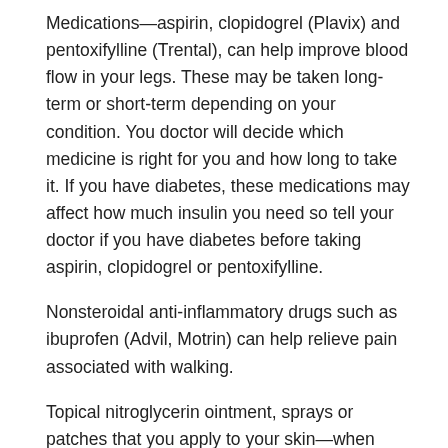Medications—aspirin, clopidogrel (Plavix) and pentoxifylline (Trental), can help improve blood flow in your legs. These may be taken long-term or short-term depending on your condition. You doctor will decide which medicine is right for you and how long to take it. If you have diabetes, these medications may affect how much insulin you need so tell your doctor if you have diabetes before taking aspirin, clopidogrel or pentoxifylline.
Nonsteroidal anti-inflammatory drugs such as ibuprofen (Advil, Motrin) can help relieve pain associated with walking.
Topical nitroglycerin ointment, sprays or patches that you apply to your skin—when combined with other therapies, these may improve blood flow in your legs and reduce the symptoms of claudication.
What nonsurgical options other for